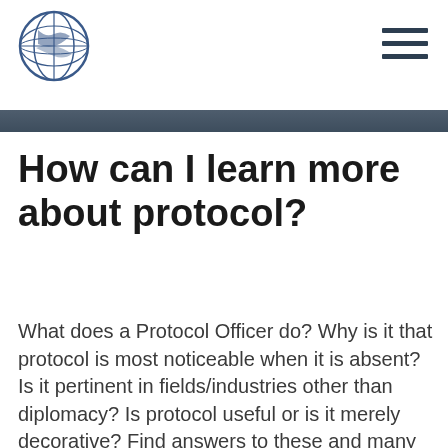[Logo: circular emblem with globe and handshake] [Hamburger menu icon]
How can I learn more about protocol?
What does a Protocol Officer do? Why is it that protocol is most noticeable when it is absent? Is it pertinent in fields/industries other than diplomacy? Is protocol useful or is it merely decorative? Find answers to these and many other questions about protocol and the role of protocol